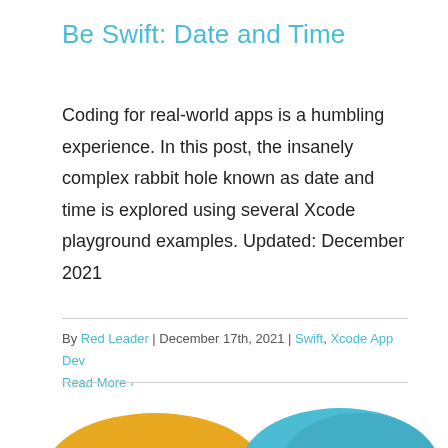Be Swift: Date and Time
Coding for real-world apps is a humbling experience. In this post, the insanely complex rabbit hole known as date and time is explored using several Xcode playground examples. Updated: December 2021
By Red Leader | December 17th, 2021 | Swift, Xcode App Dev
Read More >
[Figure (illustration): Partial view of two overlapping circles or rounded shapes at the bottom of the page — one gold/yellow and one teal/cyan — likely decorative icons or logos partially cropped]